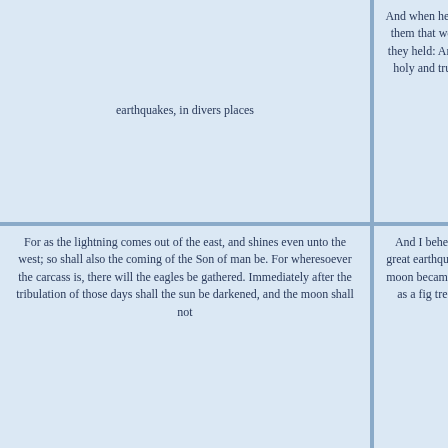earthquakes, in divers places
And when he had opened the fifth seal, I saw under the altar the souls of them that were slain for the word of God, and for the testimony which they held: And they cried with a loud voice, saying, How long, O Lord, holy and true, dost thou not judge and avenge our blood on them that dwell on the earth?
to him was given the key of the bottomless pit. And he opened the bottomless pit; and there arose a smoke out of the pit, as the smoke of a great furnace; and the sun and the air were darkened by reason of the smoke of the pit. And there came out of the smoke locusts upon the earth: and unto them was given power, as the scorpions of the earth have power. And it was commanded them that they should not hurt the grass of the earth... but only those men which have not the seal of God in their foreheads.
For as the lightning comes out of the east, and shines even unto the west; so shall also the coming of the Son of man be. For wheresoever the carcass is, there will the eagles be gathered. Immediately after the tribulation of those days shall the sun be darkened, and the moon shall not
And I beheld when he had opened the sixth seal, and, lo, there was a great earthquake; and the sun became black as sackcloth of hair, and the moon became as blood. And the stars of heaven fell unto the earth, even as a fig tree casts her untimely figs, when she is shaken of a mighty wind.
And the sixth angel sounded, and I heard a voice from the four horns of the golden altar which is before God, Saying to the sixth angel which had the trumpet, Loose the four angels which are bound in the great river Euphrates. And the four angels were loosed, which were prepared for an hour, and a day, and a month, and a year, for to slay the third part of men; and the number of